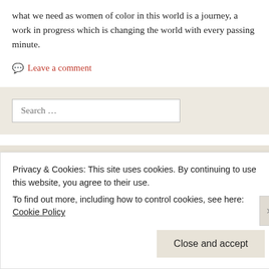what we need as women of color in this world is a journey, a work in progress which is changing the world with every passing minute.
💬 Leave a comment
Search …
Recent Posts
Privacy & Cookies: This site uses cookies. By continuing to use this website, you agree to their use. To find out more, including how to control cookies, see here: Cookie Policy
Close and accept